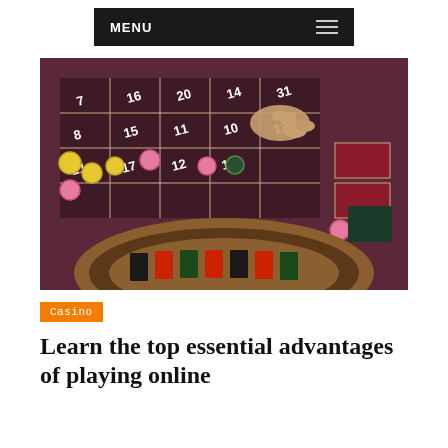MENU
[Figure (photo): Close-up photograph of a roulette table with colored chips (yellow, pink) and a dealer's hand placing chips on the numbered grid. A roulette wheel is visible in the foreground.]
Casino
Learn the top essential advantages of playing online